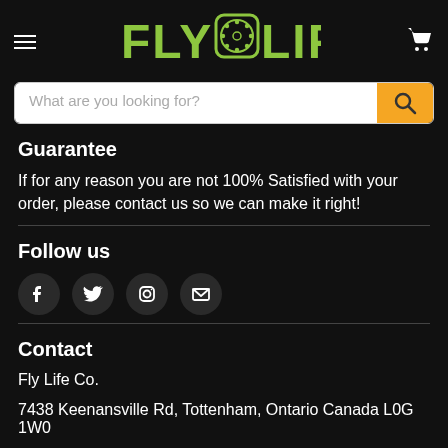FLY LIFE - navigation header with logo and cart
What are you looking for?
Guarantee
If for any reason you are not 100% Satisfied with your order, please contact us so we can make it right!
Follow us
[Figure (infographic): Four social media icon buttons: Facebook, Twitter, Instagram, Email/Envelope]
Contact
Fly Life Co.
7438 Keenansville Rd, Tottenham, Ontario Canada L0G 1W0